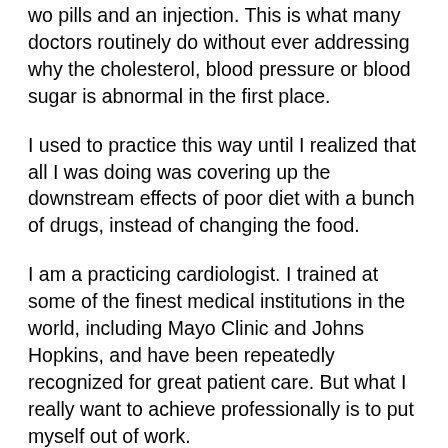wo pills and an injection. This is what many doctors routinely do without ever addressing why the cholesterol, blood pressure or blood sugar is abnormal in the first place.
I used to practice this way until I realized that all I was doing was covering up the downstream effects of poor diet with a bunch of drugs, instead of changing the food.
I am a practicing cardiologist. I trained at some of the finest medical institutions in the world, including Mayo Clinic and Johns Hopkins, and have been repeatedly recognized for great patient care. But what I really want to achieve professionally is to put myself out of work.
Unfortunately, cardiologists have endless job security. And that's because we're treating the